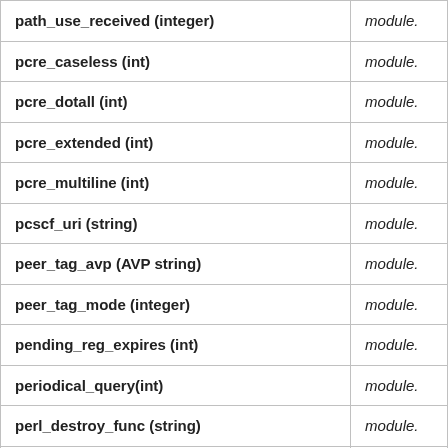| Parameter | Scope |
| --- | --- |
| path_use_received (integer) | module. |
| pcre_caseless (int) | module. |
| pcre_dotall (int) | module. |
| pcre_extended (int) | module. |
| pcre_multiline (int) | module. |
| pcscf_uri (string) | module. |
| peer_tag_avp (AVP string) | module. |
| peer_tag_mode (integer) | module. |
| pending_reg_expires (int) | module. |
| periodical_query(int) | module. |
| perl_destroy_func (string) | module. |
| persistence | module. |
| pike_log_level (integer) | module. |
| ping_application_data (string) | module. |